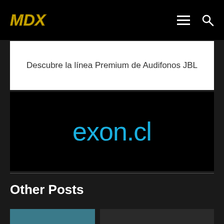MDX
[Figure (other): Advertisement banner: Descubre la línea Premium de Audifonos JBL]
[Figure (other): Advertisement banner: exon.cl logo in cyan on black background]
Other Posts
[Figure (photo): Thumbnail image with teal/dark color, partially visible at bottom of page]